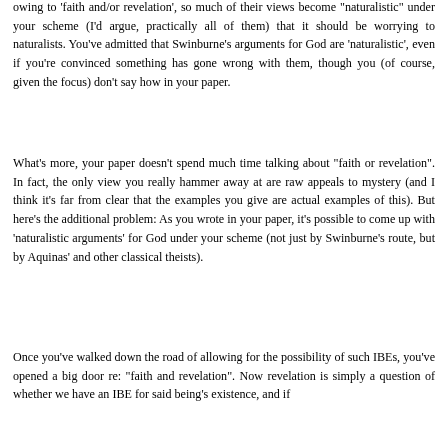owing to 'faith and/or revelation', so much of their views become "naturalistic" under your scheme (I'd argue, practically all of them) that it should be worrying to naturalists. You've admitted that Swinburne's arguments for God are 'naturalistic', even if you're convinced something has gone wrong with them, though you (of course, given the focus) don't say how in your paper.
What's more, your paper doesn't spend much time talking about "faith or revelation". In fact, the only view you really hammer away at are raw appeals to mystery (and I think it's far from clear that the examples you give are actual examples of this). But here's the additional problem: As you wrote in your paper, it's possible to come up with 'naturalistic arguments' for God under your scheme (not just by Swinburne's route, but by Aquinas' and other classical theists).
Once you've walked down the road of allowing for the possibility of such IBEs, you've opened a big door re: "faith and revelation". Now revelation is simply a question of whether we have an IBE for said being's existence, and if